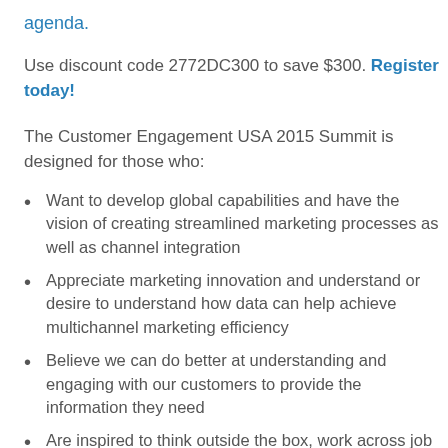agenda.
Use discount code 2772DC300 to save $300. Register today!
The Customer Engagement USA 2015 Summit is designed for those who:
Want to develop global capabilities and have the vision of creating streamlined marketing processes as well as channel integration
Appreciate marketing innovation and understand or desire to understand how data can help achieve multichannel marketing efficiency
Believe we can do better at understanding and engaging with our customers to provide the information they need
Are inspired to think outside the box, work across job functions and look to achieve beyond just ROI